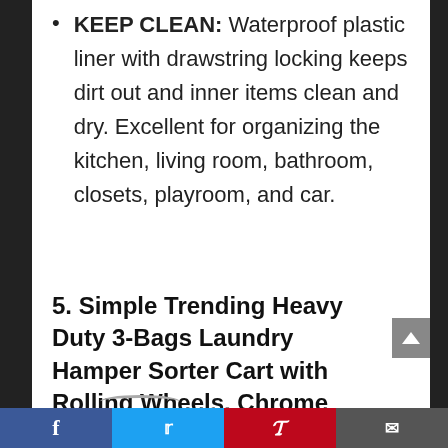KEEP CLEAN: Waterproof plastic liner with drawstring locking keeps dirt out and inner items clean and dry. Excellent for organizing the kitchen, living room, bathroom, closets, playroom, and car.
5. Simple Trending Heavy Duty 3-Bags Laundry Hamper Sorter Cart with Rolling Wheels, Chrome